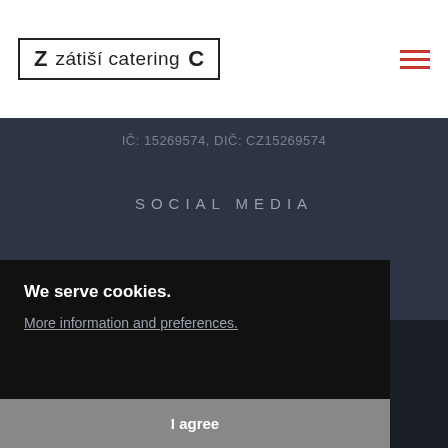[Figure (logo): Zátiší catering logo with border box containing Z, zátiší catering, C text]
[Figure (other): Hamburger menu icon with three red horizontal lines]
IČ: 15269574, DIČ: CZ15269574
SOCIAL MEDIA
[Figure (other): Three social media icons: Facebook, Instagram, LinkedIn]
I WISH TO JOIN THE TEAM
We serve cookies.
More information and preferences.
I agree